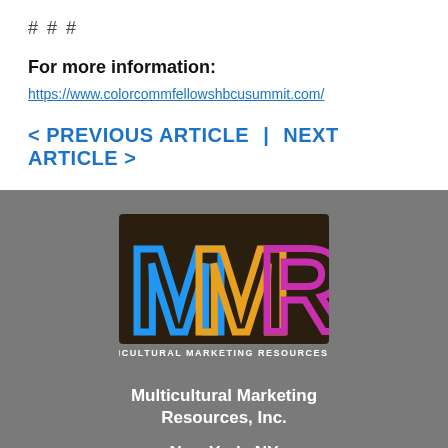# # #
For more information:
https://www.colorcommfellowshbcusummit.com/
< PREVIOUS ARTICLE  |  NEXT ARTICLE >
[Figure (logo): MMR Multicultural Marketing Resources, Inc. logo with stylized M, M, R letters in blue, gold/orange, and magenta on dark brown background, with company name below]
Multicultural Marketing Resources, Inc.
New York, NY